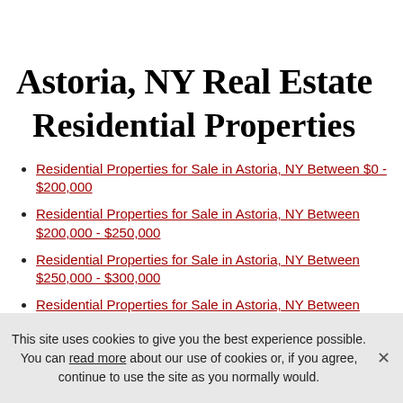Astoria, NY Real Estate Residential Properties
Residential Properties for Sale in Astoria, NY Between $0 - $200,000
Residential Properties for Sale in Astoria, NY Between $200,000 - $250,000
Residential Properties for Sale in Astoria, NY Between $250,000 - $300,000
Residential Properties for Sale in Astoria, NY Between [continues]
This site uses cookies to give you the best experience possible. You can read more about our use of cookies or, if you agree, continue to use the site as you normally would.